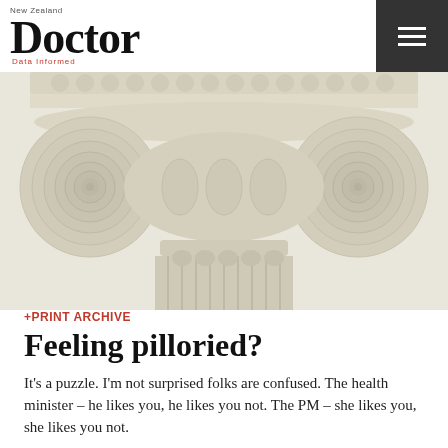New Zealand Doctor
[Figure (photo): Close-up photograph of a white/cream classical Ionic column capital with volutes (scroll-shaped ornaments) against a light background, showing detailed fluting on the column shaft below.]
+PRINT ARCHIVE
Feeling pilloried?
It's a puzzle. I'm not surprised folks are confused. The health minister – he likes you, he likes you not. The PM – she likes you, she likes you not.